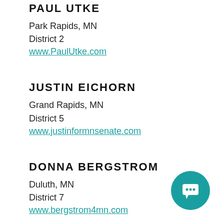PAUL UTKE
Park Rapids, MN
District 2
www.PaulUtke.com
JUSTIN EICHORN
Grand Rapids, MN
District 5
www.justinformnsenate.com
DONNA BERGSTROM
Duluth, MN
District 7
www.bergstrom4mn.com
PAUL GAZELKA